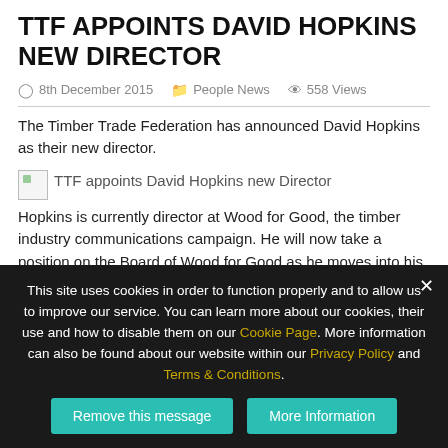TTF APPOINTS DAVID HOPKINS NEW DIRECTOR
8th December 2015   People News   558 Views
The Timber Trade Federation has announced David Hopkins as their new director.
[Figure (photo): Broken image placeholder with alt text: TTF appoints David Hopkins new Director]
Hopkins is currently director at Wood for Good, the timber industry communications campaign. He will now take a position on the Board of Wood for Good as he moves into his new role at TTF.
Keith Fryer, President of the TTF said: “I am delighted that David has accepted the position of Director. It was a tough recruitment battle
This site uses cookies in order to function properly and to allow us to improve our service. You can learn more about our cookies, their use and how to disable them on our Cookie Page. More information can also be found about our website within our Privacy Policy and Terms & Conditions.
Remove this message   More Information